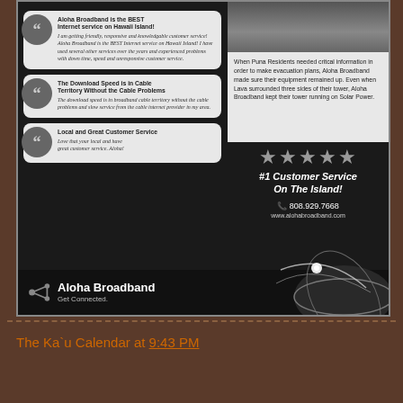[Figure (infographic): Aloha Broadband advertisement with testimonials, star rating, contact info, and logo on dark background]
The Ka`u Calendar at 9:43 PM